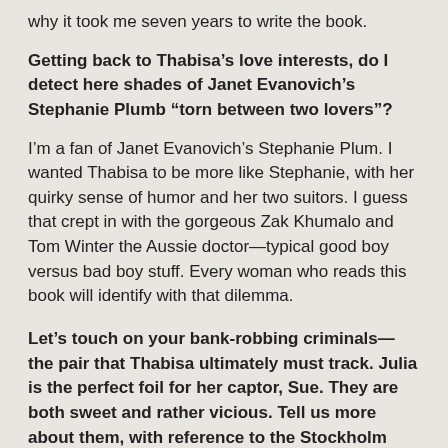why it took me seven years to write the book.
Getting back to Thabisa’s love interests, do I detect here shades of Janet Evanovich’s Stephanie Plumb “torn between two lovers”?
I’m a fan of Janet Evanovich’s Stephanie Plum. I wanted Thabisa to be more like Stephanie, with her quirky sense of humor and her two suitors. I guess that crept in with the gorgeous Zak Khumalo and Tom Winter the Aussie doctor—typical good boy versus bad boy stuff. Every woman who reads this book will identify with that dilemma.
Let’s touch on your bank-robbing criminals—the pair that Thabisa ultimately must track. Julia is the perfect foil for her captor, Sue. They are both sweet and rather vicious. Tell us more about them, with reference to the Stockholm Syndrome and the